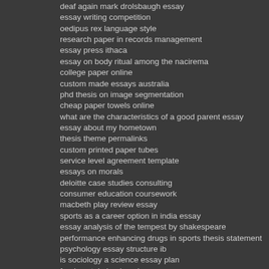deaf again mark drolsbaugh essay
essay writing competition
oedipus rex language style
research paper in records management
essay press ithaca
essay on body ritual among the nacirema
college paper online
custom made essays australia
phd thesis on image segmentation
cheap paper towels online
what are the characteristics of a good parent essay
essay about my hometown
thesis theme permalinks
custom printed paper tubes
service level agreement template
essays on morals
deloitte case studies consulting
consumer education coursework
macbeth play review essay
sports as a career option in india essay
essay analysis of the tempest by shakespeare
performance enhancing drugs in sports thesis statement
psychology essay structure ib
is sociology a science essay plan
frankenstein book review essay
witie my papers
art history papers for sale
green revolution essay writing
mla style lite for research papers
essay on dog